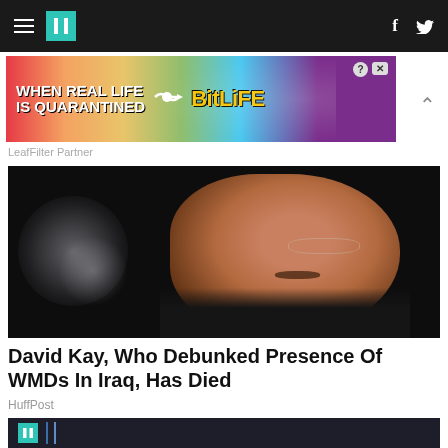HuffPost navigation bar with hamburger menu, logo, Facebook and Twitter icons
[Figure (other): BitLife advertisement banner: colorful rainbow background with 'WHEN REAL LIFE IS QUARANTINED' text and BitLife logo with emoji game character]
LeafFilter Partner
[Figure (photo): Black and white dark photo of an older man with glasses and a mustache, wearing a suit, speaking or presenting, against a dark blurred background]
David Kay, Who Debunked Presence Of WMDs In Iraq, Has Died
HuffPost
[Figure (photo): Partial thumbnail image at bottom showing HuffPost logo and what appears to be a microphone or podium against a dark blue background]